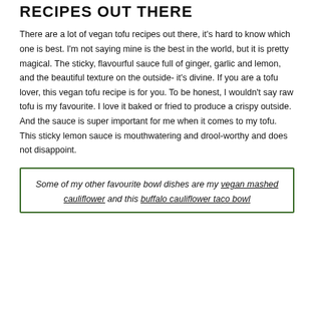RECIPES OUT THERE
There are a lot of vegan tofu recipes out there, it's hard to know which one is best. I'm not saying mine is the best in the world, but it is pretty magical. The sticky, flavourful sauce full of ginger, garlic and lemon, and the beautiful texture on the outside- it's divine. If you are a tofu lover, this vegan tofu recipe is for you. To be honest, I wouldn't say raw tofu is my favourite. I love it baked or fried to produce a crispy outside. And the sauce is super important for me when it comes to my tofu. This sticky lemon sauce is mouthwatering and drool-worthy and does not disappoint.
Some of my other favourite bowl dishes are my vegan mashed cauliflower and this buffalo cauliflower taco bowl